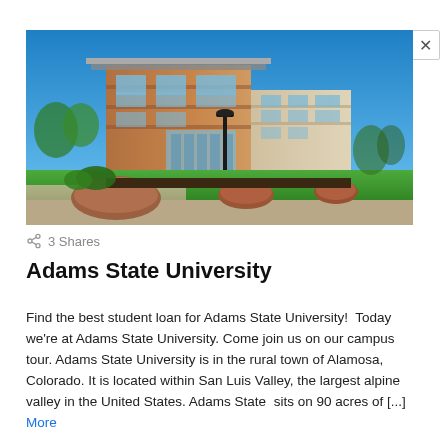[Figure (photo): Exterior photo of Adams State University campus building — a modern multi-story brick and glass structure under a clear blue sky, with a lamp post and large rocks in the foreground on a green lawn.]
3 Shares
Adams State University
Find the best student loan for Adams State University!  Today we're at Adams State University. Come join us on our campus tour. Adams State University is in the rural town of Alamosa, Colorado. It is located within San Luis Valley, the largest alpine valley in the United States. Adams State  sits on 90 acres of [...] More